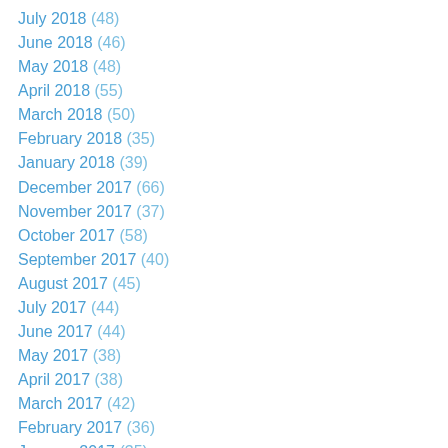July 2018 (48)
June 2018 (46)
May 2018 (48)
April 2018 (55)
March 2018 (50)
February 2018 (35)
January 2018 (39)
December 2017 (66)
November 2017 (37)
October 2017 (58)
September 2017 (40)
August 2017 (45)
July 2017 (44)
June 2017 (44)
May 2017 (38)
April 2017 (38)
March 2017 (42)
February 2017 (36)
January 2017 (35)
December 2016 (60)